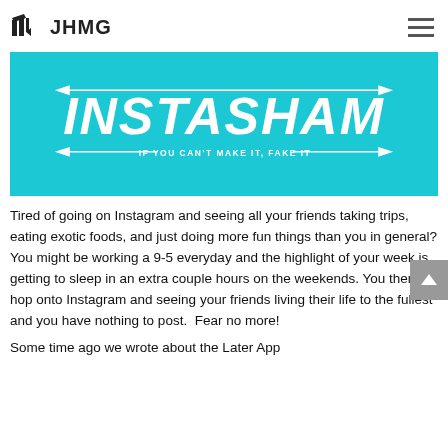JHMG
[Figure (illustration): Cyan/turquoise banner image with large bold italic white text reading 'INSTASHAM' and subtitle 'IF YOU CAN'T MAKE IT, FAKE IT' with arrow design elements on cyan background]
Tired of going on Instagram and seeing all your friends taking trips, eating exotic foods, and just doing more fun things than you in general? You might be working a 9-5 everyday and the highlight of your week is getting to sleep in an extra couple hours on the weekends. You then hop onto Instagram and seeing your friends living their life to the fullest and you have nothing to post.  Fear no more!
Some time ago we wrote about the Later App…